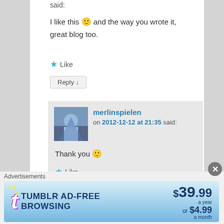said:
I like this 🙂 and the way you wrote it, great blog too.
★ Like
Reply ↓
merlinspielen on 2012-12-12 at 21:35 said:
Thank you 🙂
★ Like
Reply ↓
Advertisements
[Figure (other): Tumblr Ad-Free Browsing advertisement banner showing $39.99 a year or $4.99 a month]